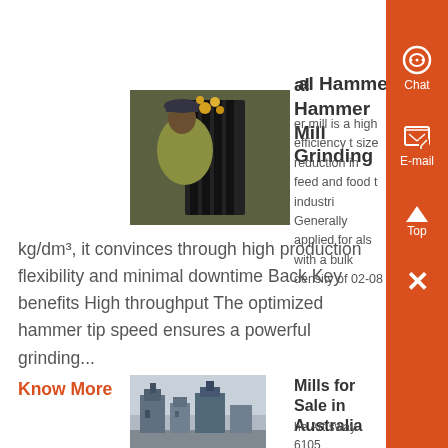al Hammer Mill Grinding
[Figure (photo): Person holding industrial grinding equipment, close-up view]
er mill is a high efficiency t size reduction in feed and food t industri Generally applied for als with a bulk density of 02-08 kg/dm³, it convinces through high production flexibility and minimal downtime Back Key benefits High throughput The optimized hammer tip speed ensures a powerful grinding...
Know More
Mills for Sale in Australia
[Figure (photo): Industrial hammer mills for sale in Australia, outdoor equipment]
he Art sway 6105 Hammermill xer is an economical option for